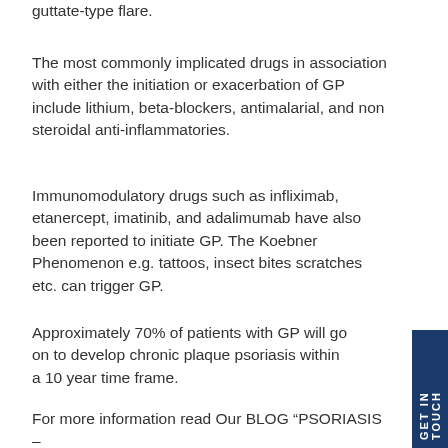guttate-type flare.
The most commonly implicated drugs in association with either the initiation or exacerbation of GP include lithium, beta-blockers, antimalarial, and non steroidal anti-inflammatories.
Immunomodulatory drugs such as infliximab, etanercept, imatinib, and adalimumab have also been reported to initiate GP. The Koebner Phenomenon e.g. tattoos, insect bites scratches etc. can trigger GP.
Approximately 70% of patients with GP will go on to develop chronic plaque psoriasis within a 10 year time frame.
For more information read Our BLOG “PSORIASIS – THE RELATIONSHIP WITH VIRAL, BACTERIAL AND